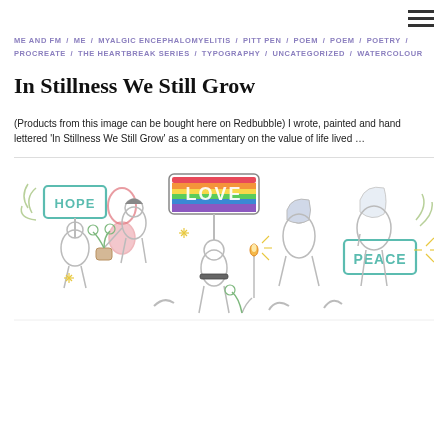≡ (hamburger menu icon)
ME AND FM / ME / MYALGIC ENCEPHALOMYELITIS / PITT PEN / POEM / POEM / POETRY / PROCREATE / THE HEARTBREAK SERIES / TYPOGRAPHY / UNCATEGORIZED / WATERCOLOUR
In Stillness We Still Grow
(Products from this image can be bought here on Redbubble) I wrote, painted and hand lettered 'In Stillness We Still Grow' as a commentary on the value of life lived …
[Figure (illustration): Line-art illustration of diverse people holding signs saying HOPE, LOVE (rainbow), and PEACE, with plants and candles, in a watercolour/sketch style]